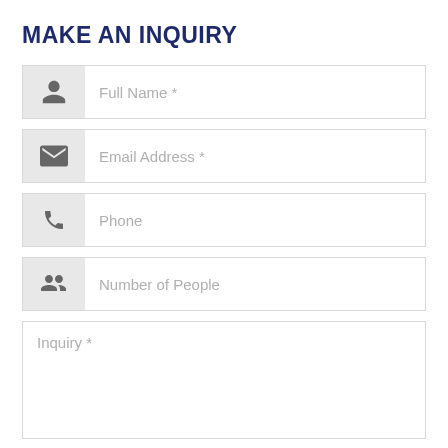MAKE AN INQUIRY
Full Name *
Email Address *
Phone
Number of People
Inquiry *
SUBMIT